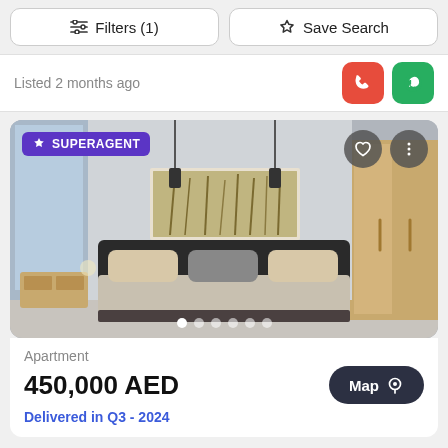Filters (1)  Save Search
Listed 2 months ago
[Figure (photo): Modern bedroom interior with a bed, decorative pillows, pendant lights, large window on the left, wooden wardrobe on the right, and a framed artwork above the bed headboard. SUPERAGENT badge on top-left. Heart and options buttons on top-right. Carousel dots at bottom.]
Apartment
450,000 AED
Delivered in Q3 - 2024